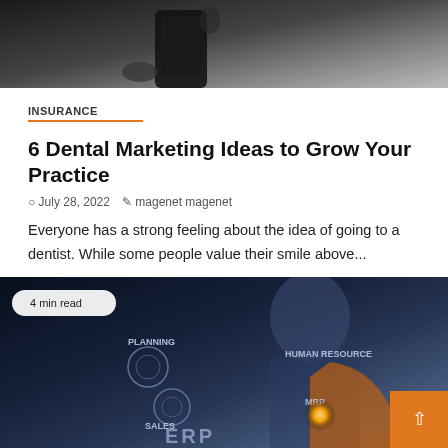[Figure (photo): Top portion of an article card showing a hand holding a dark smartphone against a dark background, cropped at the bottom of the image.]
INSURANCE
6 Dental Marketing Ideas to Grow Your Practice
July 28, 2022   magenet magenet
Everyone has a strong feeling about the idea of going to a dentist. While some people value their smile above...
[Figure (photo): Bottom article card image showing a businessperson in a suit touching a digital interface with holographic business icons including PLANNING, SALES, HUMAN RESOURCE, MRP, ERP labels. A '4 min read' badge is in the top-left corner and an orange scroll-up button is in the bottom-right corner.]